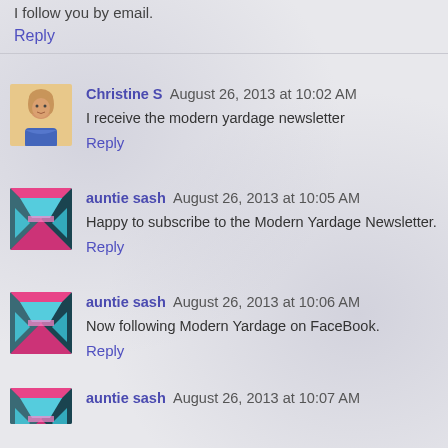I follow you by email.
Reply
Christine S  August 26, 2013 at 10:02 AM
I receive the modern yardage newsletter
Reply
auntie sash  August 26, 2013 at 10:05 AM
Happy to subscribe to the Modern Yardage Newsletter.
Reply
auntie sash  August 26, 2013 at 10:06 AM
Now following Modern Yardage on FaceBook.
Reply
auntie sash  August 26, 2013 at 10:07 AM